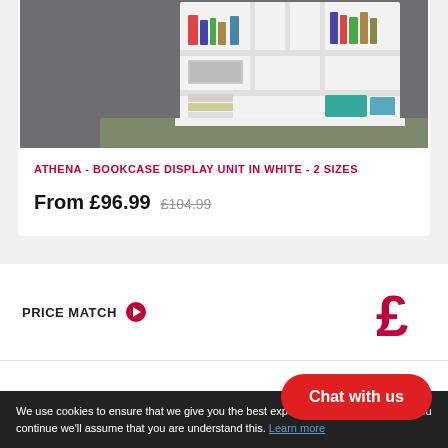[Figure (photo): White bookcase display unit with multiple compartments filled with books, folders, and storage boxes on a grey rug floor]
ATHENA - BOOKCASE DISPLAY UNIT IN WHITE - 2 SIZES
From £96.99  £104.99
PRICE MATCH ➔
[Figure (illustration): Dark red pound sign (£) icon]
FREE DELIVERY ➔
[Figure (illustration): Dark red delivery truck icon]
We use cookies to ensure that we give you the best experience on our website. If you continue we'll assume that you are understand this. Learn more
Chat with us